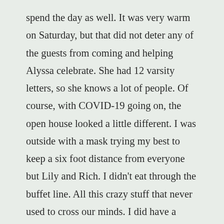spend the day as well. It was very warm on Saturday, but that did not deter any of the guests from coming and helping Alyssa celebrate. She had 12 varsity letters, so she knows a lot of people. Of course, with COVID-19 going on, the open house looked a little different. I was outside with a mask trying my best to keep a six foot distance from everyone but Lily and Rich. I didn't eat through the buffet line. All this crazy stuff that never used to cross our minds. I did have a piece of cake and it was AWESOME. My sister made it. Alyssa will be going to Manchester University about 90 minutes away and will major in elementary education and play women's basketball. It was awesome to be able to be there to help celebrate all these awesome occasions. We all gathered together for brunch at the Pfeil's house on